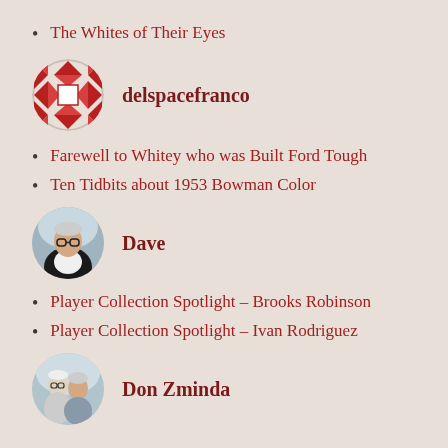The Whites of Their Eyes
[Figure (illustration): delspacefranco avatar: circular badge with red and white quilt/geometric pattern]
delspacefranco
Farewell to Whitey who was Built Ford Tough
Ten Tidbits about 1953 Bowman Color
[Figure (photo): Dave avatar: circular photo of a man with glasses outdoors]
Dave
Player Collection Spotlight – Brooks Robinson
Player Collection Spotlight – Ivan Rodriguez
[Figure (photo): Don Zminda avatar: circular photo of two people]
Don Zminda